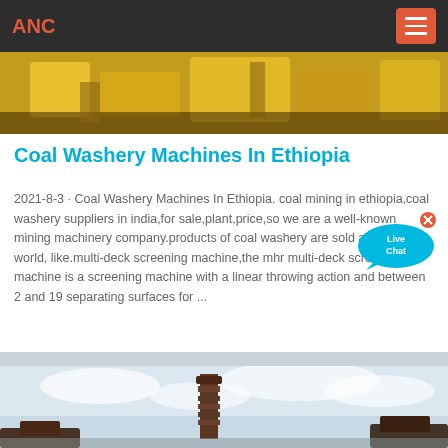ANC
[Figure (photo): Yellow industrial mining machinery in a warehouse or facility setting]
Coal Washery Machines In Ethiopia
2021-8-3 · Coal Washery Machines In Ethiopia. coal mining in ethiopia,coal washery suppliers in india,for sale,plant,price,so we are a well-known mining machinery company.products of coal washery are sold around the world, like.multi-deck screening machine,the mhr multi-deck screening machine is a screening machine with a linear throwing action and between 2 and 19 separating surfaces for ...
[Figure (photo): Industrial structure or tower against a partly cloudy sky, with construction equipment visible at the bottom]